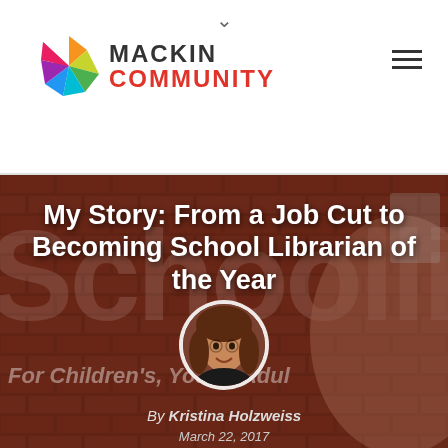Mackin Community
My Story: From a Job Cut to Becoming School Librarian of the Year
[Figure (photo): Circular author headshot of Kristina Holzweiss, a woman with reddish-brown hair, smiling, set against a dark brick wall background with large ghosted 'Schoolli' text and partial text 'For Children's, Young Adul' visible]
By Kristina Holzweiss
March 22, 2017